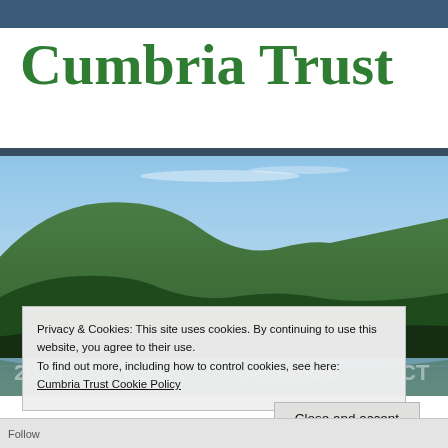Cumbria Trust
[Figure (photo): Landscape photo of a lake with green hills/mountains reflected in calm water under a blue sky — a scene from the Lake District, Cumbria.]
Privacy & Cookies: This site uses cookies. By continuing to use this website, you agree to their use.
To find out more, including how to control cookies, see here:
Cumbria Trust Cookie Policy
Close and accept